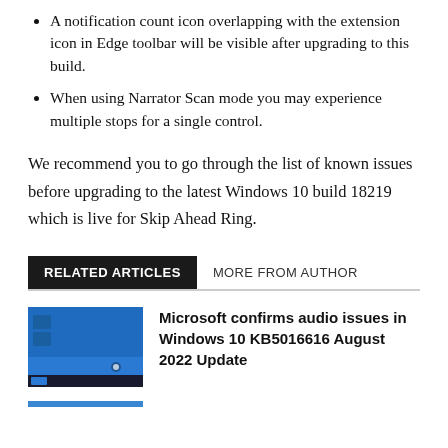A notification count icon overlapping with the extension icon in Edge toolbar will be visible after upgrading to this build.
When using Narrator Scan mode you may experience multiple stops for a single control.
We recommend you to go through the list of known issues before upgrading to the latest Windows 10 build 18219 which is live for Skip Ahead Ring.
RELATED ARTICLES   MORE FROM AUTHOR
Microsoft confirms audio issues in Windows 10 KB5016616 August 2022 Update
[Figure (screenshot): Screenshot of Windows 10 desktop with blue background and taskbar]